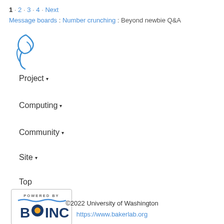1 · 2 · 3 · 4 · Next
Message boards : Number crunching : Beyond newbie Q&A
[Figure (logo): BOINC logo icon - stylized figure/person in blue]
Project ▾
Computing ▾
Community ▾
Site ▾
Top
[Figure (logo): Powered by BOINC badge with BOINC logo]
©2022 University of Washington
https://www.bakerlab.org